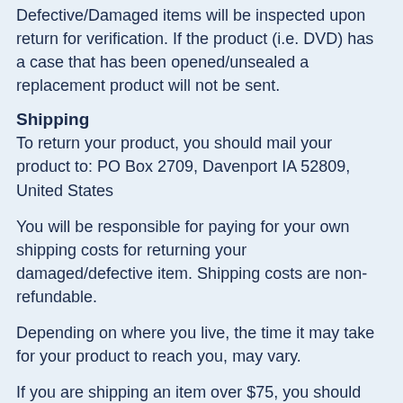Defective/Damaged items will be inspected upon return for verification. If the product (i.e. DVD) has a case that has been opened/unsealed a replacement product will not be sent.
Shipping
To return your product, you should mail your product to: PO Box 2709, Davenport IA 52809, United States
You will be responsible for paying for your own shipping costs for returning your damaged/defective item. Shipping costs are non-refundable.
Depending on where you live, the time it may take for your product to reach you, may vary.
If you are shipping an item over $75, you should consider using a trackable shipping service or